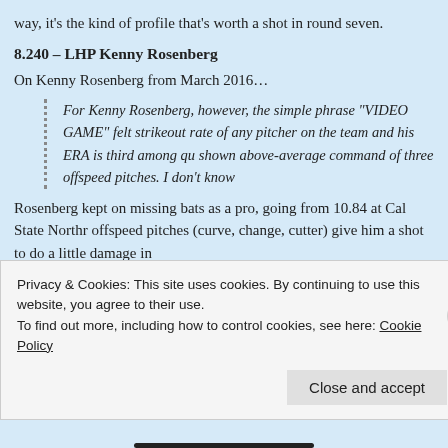way, it's the kind of profile that's worth a shot in round seven.
8.240 – LHP Kenny Rosenberg
On Kenny Rosenberg from March 2016…
For Kenny Rosenberg, however, the simple phrase "VIDEO GAME" felt strikeout rate of any pitcher on the team and his ERA is third among qu shown above-average command of three offspeed pitches. I don't know
Rosenberg kept on missing bats as a pro, going from 10.84 at Cal State Northr offspeed pitches (curve, change, cutter) give him a shot to do a little damage in
9.270 – RHP Peter Bayer
An outstanding pro debut (12.40 K/9, 0.83 BB/9, 0.83 ERA) has thrust Peter Ba Pomona took him out of it. I honestly lost track of him after he left the Spiders. a promising frame you could dream on. His bonkers senior season (14.13 K/9 a Kyle Boddy and the Driveline guys — got him a shot in pro ball, and so far he's da
Privacy & Cookies: This site uses cookies. By continuing to use this website, you agree to their use.
To find out more, including how to control cookies, see here: Cookie Policy
Close and accept